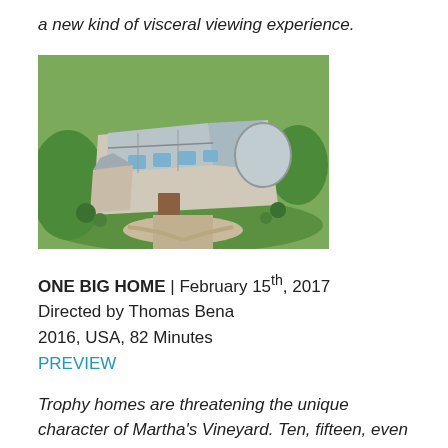a new kind of visceral viewing experience.
[Figure (photo): Aerial photograph of a large mansion/trophy home surrounded by green lawns and trees, viewed from above at an angle.]
ONE BIG HOME  |  February 15th, 2017
Directed by Thomas Bena
2016, USA, 82 Minutes
PREVIEW
Trophy homes are threatening the unique character of Martha's Vineyard.  Ten, fifteen, even twenty-thousand-square-foot houses are going up around the Island.  These mansions stand in stark contrast to the traditional small